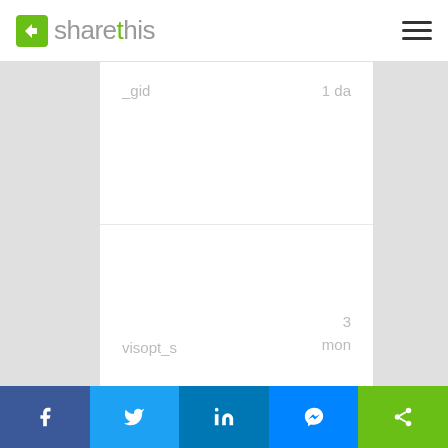sharethis
| Name | Duration |
| --- | --- |
| _gid | 1 da |
| visopt_s | 3 mon |
f  twitter  in  messenger  share